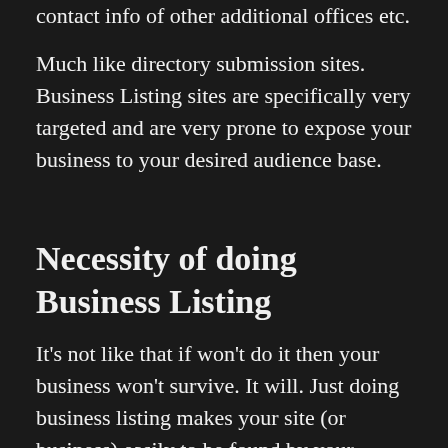contact info of other additional offices etc.
Much like directory submission sites. Business Listing sites are specifically very targeted and are very prone to expose your business to your desired audience base.
Necessity of doing Business Listing
It's not like that if won't do it then your business won't survive. It will. Just doing business listing makes your site (or business) easily to be found by your clients or customers. Often people find any business through business listings as they are looking for it. So if